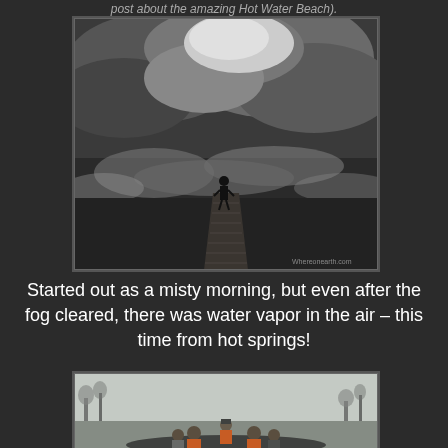post about the amazing Hot Water Beach).
[Figure (photo): Black and white photo of a person standing on a wooden boardwalk surrounded by steam and clouds from hot springs, with a dramatic stormy sky. Watermark visible at bottom right.]
Started out as a misty morning, but even after the fog cleared, there was water vapor in the air – this time from hot springs!
[Figure (photo): Color photo of people in orange life vests on a boat in foggy conditions on a lake or river, with bare trees visible in the misty background. A guide or instructor faces the group.]